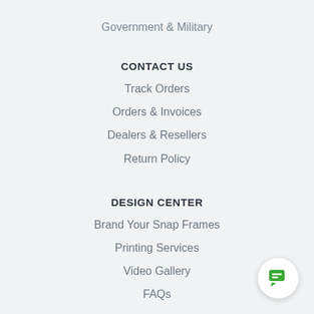Government & Military
CONTACT US
Track Orders
Orders & Invoices
Dealers & Resellers
Return Policy
DESIGN CENTER
Brand Your Snap Frames
Printing Services
Video Gallery
FAQs